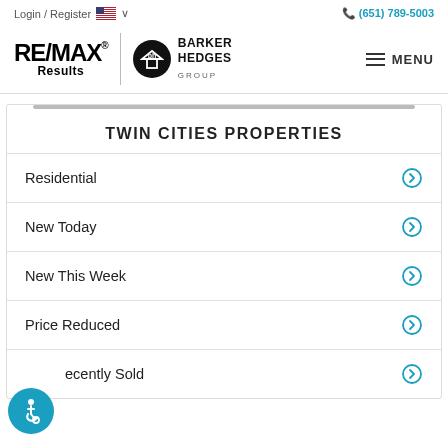Login / Register   (651) 789-5003
[Figure (logo): RE/MAX Results logo and Barker Hedges Group logo with MENU button]
TWIN CITIES PROPERTIES
Residential
New Today
New This Week
Price Reduced
Recently Sold